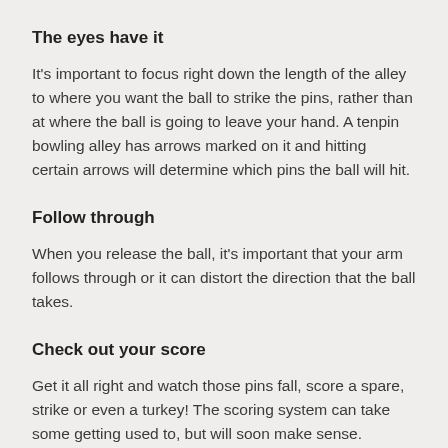The eyes have it
It's important to focus right down the length of the alley to where you want the ball to strike the pins, rather than at where the ball is going to leave your hand. A tenpin bowling alley has arrows marked on it and hitting certain arrows will determine which pins the ball will hit.
Follow through
When you release the ball, it's important that your arm follows through or it can distort the direction that the ball takes.
Check out your score
Get it all right and watch those pins fall, score a spare, strike or even a turkey! The scoring system can take some getting used to, but will soon make sense.